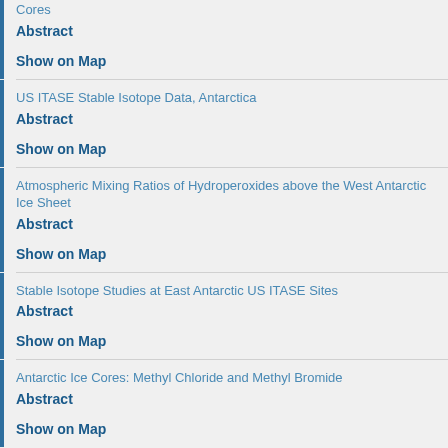Cores
Abstract
Show on Map
US ITASE Stable Isotope Data, Antarctica
Abstract
Show on Map
Atmospheric Mixing Ratios of Hydroperoxides above the West Antarctic Ice Sheet
Abstract
Show on Map
Stable Isotope Studies at East Antarctic US ITASE Sites
Abstract
Show on Map
Antarctic Ice Cores: Methyl Chloride and Methyl Bromide
Abstract
Show on Map